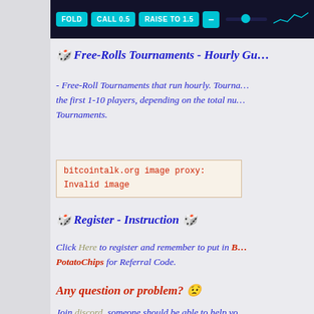[Figure (screenshot): Poker game interface showing FOLD, CALL 0.5, RAISE TO 1.5 buttons and a slider, dark blue background]
🎲 Free-Rolls Tournaments - Hourly Gu...
- Free-Roll Tournaments that run hourly. Tourna... the first 1-10 players, depending on the total nu... Tournaments.
[Figure (other): bitcointalk.org image proxy: Invalid image]
🎲 Register - Instruction 🎲
Click Here to register and remember to put in B... PotatoChips for Referral Code.
[Figure (other): bitcointalk.org image proxy: Invalid image]
Any question or problem? 😟
Join discord, someone should be able to help yo...